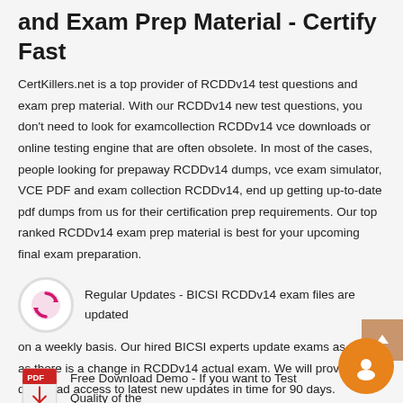and Exam Prep Material - Certify Fast
CertKillers.net is a top provider of RCDDv14 test questions and exam prep material. With our RCDDv14 new test questions, you don't need to look for examcollection RCDDv14 vce downloads or online testing engine that are often obsolete. In most of the cases, people looking for prepaway RCDDv14 dumps, vce exam simulator, VCE PDF and exam collection RCDDv14, end up getting up-to-date pdf dumps from us for their certification prep requirements. Our top ranked RCDDv14 exam prep material is best for your upcoming final exam preparation.
[Figure (logo): Circular sync/refresh icon with pink/magenta arrows on white background with grey border]
Regular Updates - BICSI RCDDv14 exam files are updated on a weekly basis. Our hired BICSI experts update exams as soon as there is a change in RCDDv14 actual exam. We will provide download access to latest new updates in time for 90 days.
[Figure (logo): PDF icon with red design]
Free Download Demo - If you want to Test Quality of the